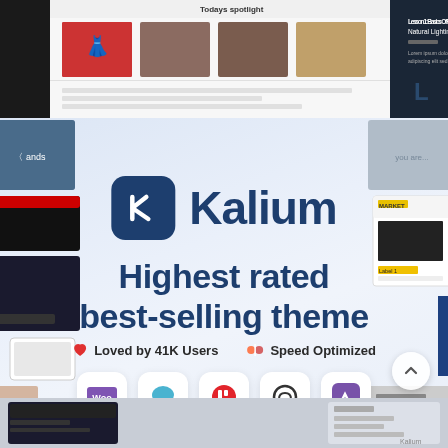[Figure (screenshot): Top strip showing website/blog template screenshots including 'Todays spotlight' section and a photography lesson article]
[Figure (screenshot): Main promo area with Kalium logo, tagline 'Highest rated best-selling theme', stats 'Loved by 41K Users' and 'Speed Optimized', and plugin icons for WooCommerce, SomeChat, Elementor, QUIX, and another plugin]
[Figure (screenshot): Bottom strip showing partial website screenshot thumbnails]